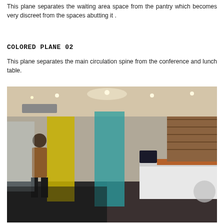This plane separates the waiting area space from the pantry which becomes very discreet from the spaces abutting it .
COLORED PLANE 02
This plane separates the main circulation spine from the conference and lunch table.
[Figure (photo): Interior office space photograph showing a person walking past colored glass panels (yellow and teal/blue translucent planes), with a white reception desk, wooden shelving, and modern office furnishings under a lit ceiling.]